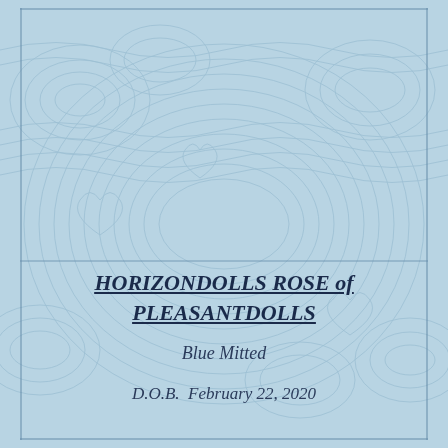HORIZONDOLLS ROSE of PLEASANTDOLLS
Blue Mitted
D.O.B.  February 22, 2020